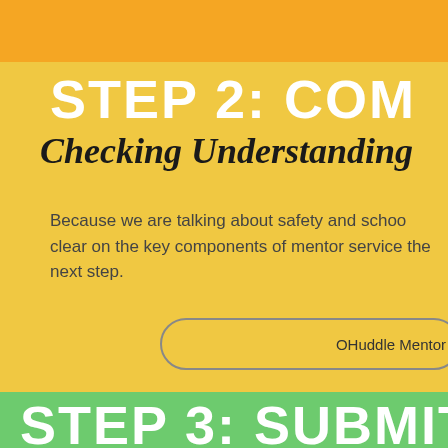STEP 2: COM
Checking Understanding
Because we are talking about safety and schoo clear on the key components of mentor service the next step.
OHuddle Mentor
STEP 3: SUBMIT